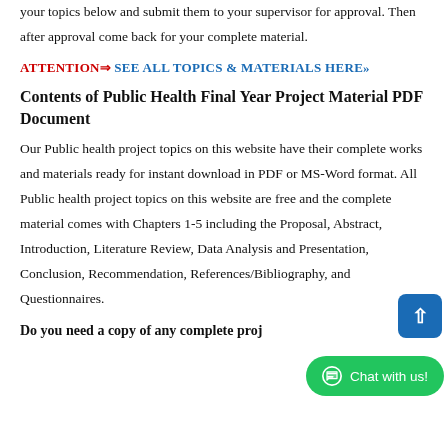your topics below and submit them to your supervisor for approval. Then after approval come back for your complete material.
ATTENTION⇒ SEE ALL TOPICS & MATERIALS HERE»
Contents of Public Health Final Year Project Material PDF Document
Our Public health project topics on this website have their complete works and materials ready for instant download in PDF or MS-Word format. All Public health project topics on this website are free and the complete material comes with Chapters 1-5 including the Proposal, Abstract, Introduction, Literature Review, Data Analysis and Presentation, Conclusion, Recommendation, References/Bibliography, and Questionnaires.
Do you need a copy of any complete proj… can contact us at (1234) 08060082010, 08107032631 or…